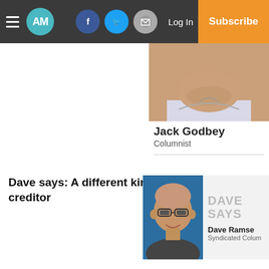AM | Facebook | Twitter | Mail | Log In | Subscribe
[Figure (photo): Headshot of Jack Godbey, columnist, showing lower portion of face and shoulders]
Jack Godbey
Columnist
Dave says: A different kind of creditor
[Figure (photo): Headshot of Dave Ramsey, bald man with glasses smiling]
DAVE SAYS
Dave Ramsey
Syndicated Columnist